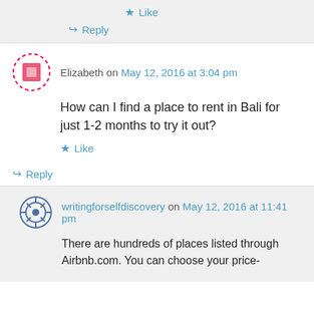Like
Reply
Elizabeth on May 12, 2016 at 3:04 pm
How can I find a place to rent in Bali for just 1-2 months to try it out?
Like
Reply
writingforselfdiscovery on May 12, 2016 at 11:41 pm
There are hundreds of places listed through Airbnb.com. You can choose your price-